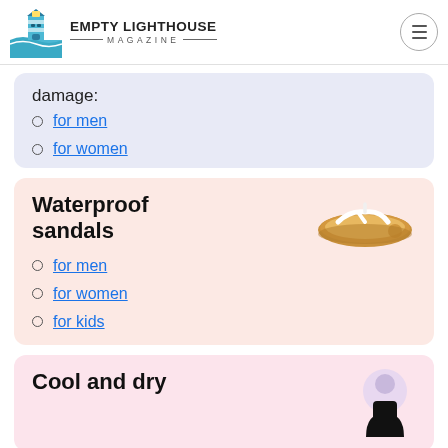Empty Lighthouse Magazine
damage:
for men
for women
Waterproof sandals
[Figure (photo): A tan flip-flop sandal with white strap, viewed from above]
for men
for women
for kids
Cool and dry
[Figure (photo): A person wearing a black sleeveless top, visible from the chest up]